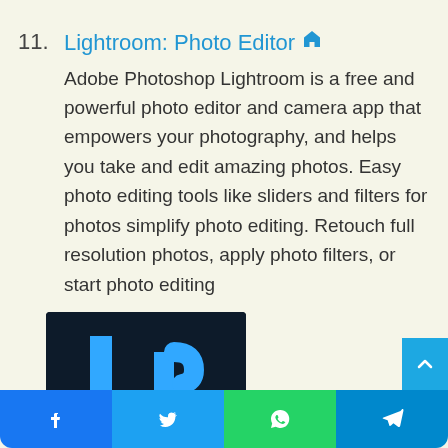11. Lightroom: Photo Editor 🏠
Adobe Photoshop Lightroom is a free and powerful photo editor and camera app that empowers your photography, and helps you take and edit amazing photos. Easy photo editing tools like sliders and filters for photos simplify photo editing. Retouch full resolution photos, apply photo filters, or start photo editing
[Figure (logo): Adobe Lightroom app icon — dark navy background with blue 'Lr' letters in Adobe style]